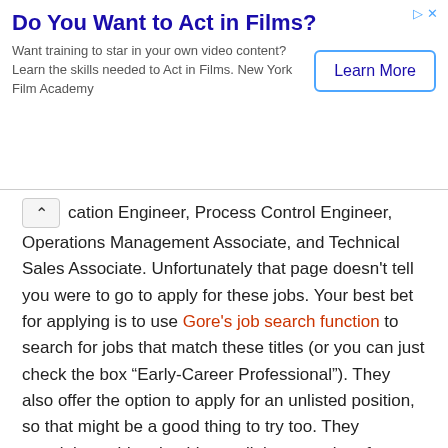[Figure (other): Advertisement banner: 'Do You Want to Act in Films?' with Learn More button]
cation Engineer, Process Control Engineer, Operations Management Associate, and Technical Sales Associate. Unfortunately that page doesn't tell you were to go to apply for these jobs. Your best bet for applying is to use Gore's job search function to search for jobs that match these titles (or you can just check the box “Early-Career Professional”). They also offer the option to apply for an unlisted position, so that might be a good thing to try too. They certainly could make things a little more clear for new grads though.
Links to Help You Begin Your Research
Gore.com
Jobs at Gore
Opportunities for New Graduates at Gore